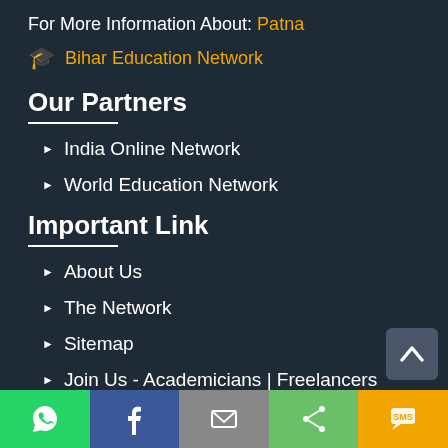For More Information About: Patna
🎓 Bihar Education Network
Our Partners
India Online Network
World Education Network
Important Link
About Us
The Network
Sitemap
Join Us - Academicians | Freelancers
Social share bar: WhatsApp, Facebook, Email, Share, SMS